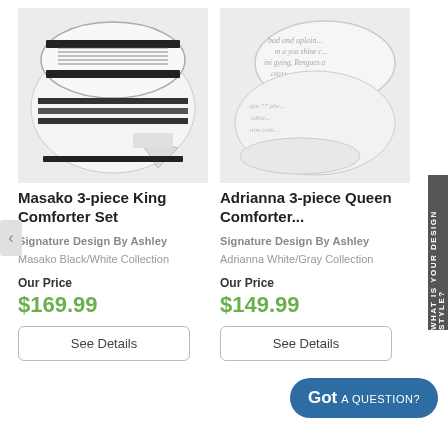[Figure (photo): Masako 3-piece King Comforter Set - black and white striped/geometric pattern comforter set folded]
[Figure (photo): Adrianna 3-piece Queen Comforter Set - white/gray with script writing pattern]
Masako 3-piece King Comforter Set
Adrianna 3-piece Queen Comforter...
Signature Design By Ashley
Signature Design By Ashley
Masako Black/White Collection
Adrianna White/Gray Collection
Our Price
$169.99
Our Price
$149.99
See Details
See Details
Got A QUESTION?